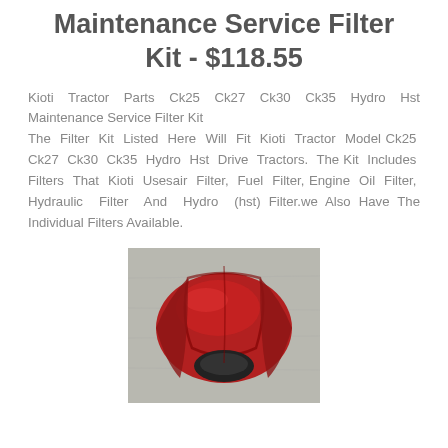Maintenance Service Filter Kit - $118.55
Kioti Tractor Parts Ck25 Ck27 Ck30 Ck35 Hydro Hst Maintenance Service Filter Kit
The Filter Kit Listed Here Will Fit Kioti Tractor Model Ck25 Ck27 Ck30 Ck35 Hydro Hst Drive Tractors. The Kit Includes Filters That Kioti Usesair Filter, Fuel Filter, Engine Oil Filter, Hydraulic Filter And Hydro (hst) Filter.we Also Have The Individual Filters Available.
[Figure (photo): Photo of a red Kioti tractor hood/body panel viewed from above, placed on a concrete surface]